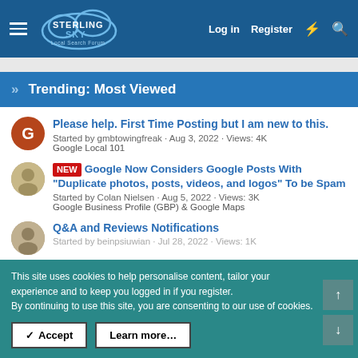Sterling Sky Local Search Forum — Log in  Register
Trending: Most Viewed
Please help. First Time Posting but I am new to this. Started by gmbtowingfreak · Aug 3, 2022 · Views: 4K  Google Local 101
NEW Google Now Considers Google Posts With "Duplicate photos, posts, videos, and logos" To be Spam  Started by Colan Nielsen · Aug 5, 2022 · Views: 3K  Google Business Profile (GBP) & Google Maps
Q&A and Reviews Notifications  Started by beinpsiuwian · Jul 28, 2022 · Views: 1K
This site uses cookies to help personalise content, tailor your experience and to keep you logged in if you register.
By continuing to use this site, you are consenting to our use of cookies.